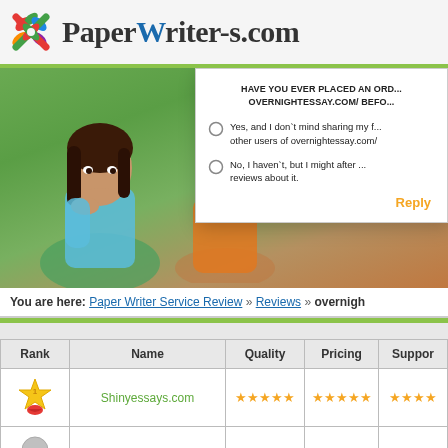PaperWriter-s.com
[Figure (screenshot): Photo of two students sitting at a desk — a female student in foreground looking thoughtful, a male student in background wearing orange shirt]
HAVE YOU EVER PLACED AN ORDER AT OVERNIGHTESSAY.COM/ BEFORE?
Yes, and I don`t mind sharing my feedback with other users of overnightessay.com/
No, I haven`t, but I might after reading reviews about it.
Reply
You are here: Paper Writer Service Review » Reviews » overnigh
| Rank | Name | Quality | Pricing | Support |
| --- | --- | --- | --- | --- |
| 1 | Shinyessays.com | ★★★★★ | ★★★★★ | ★★★★★ |
| 2 | 24houressays.com | ★★★★ | ★★★★ | ★★★★ |